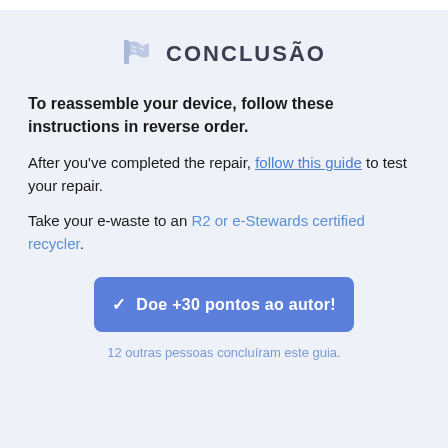CONCLUSÃO
To reassemble your device, follow these instructions in reverse order.
After you've completed the repair, follow this guide to test your repair.
Take your e-waste to an R2 or e-Stewards certified recycler.
Doe +30 pontos ao autor!
12 outras pessoas concluíram este guia.